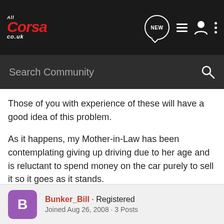All Corsa co.uk — Search Community
Those of you with experience of these will have a good idea of this problem.
As it happens, my Mother-in-Law has been contemplating giving up driving due to her age and is reluctant to spend money on the car purely to sell it so it goes as it stands.
The Corsa is currently not driveable so is therefore being sold as 'in need of repair' and will need to be trailered away.
Bunker_Bill · Registered · Joined Aug 26, 2008 · 3 Posts